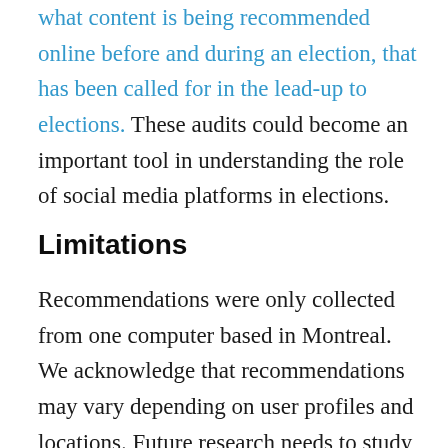what content is being recommended online before and during an election, that has been called for in the lead-up to elections. These audits could become an important tool in understanding the role of social media platforms in elections.
Limitations
Recommendations were only collected from one computer based in Montreal. We acknowledge that recommendations may vary depending on user profiles and locations. Future research needs to study these systems from multiple computers. These findings have not been subject to peer review. Research is